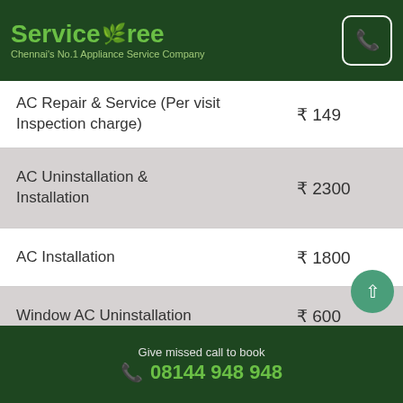ServiceTree — Chennai's No.1 Appliance Service Company
| Service | Price |
| --- | --- |
| AC Repair & Service (Per visit Inspection charge) | ₹ 149 |
| AC Uninstallation & Installation | ₹ 2300 |
| AC Installation | ₹ 1800 |
| Window AC Uninstallation | ₹ 600 |
| AC General Cleaning Service | ₹ 499 |
| AC Gas Filling/Refilling (Get quote) | ₹ 0 |
Give missed call to book 08144 948 948